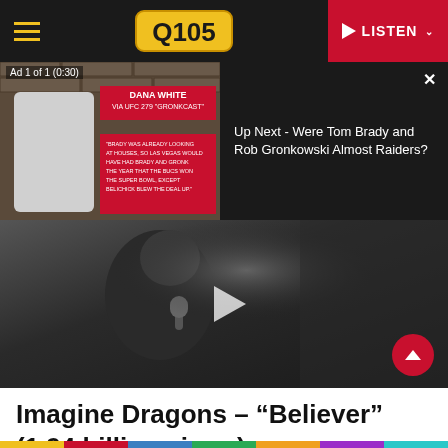[Figure (screenshot): Q105 radio station website navigation bar with hamburger menu, Q105 logo, and red LISTEN button]
[Figure (screenshot): Video ad overlay showing Dana White via UFC 279 Gronkcast with 'Up Next - Were Tom Brady and Rob Gronkowski Almost Raiders?' panel and close X button. Ad label reads 'Ad 1 of 1 (0:30)']
[Figure (photo): Video thumbnail of a person singing into a microphone in dark lighting, with a play button overlay and red scroll-up button]
Imagine Dragons – “Believer” (1.94 billion views)